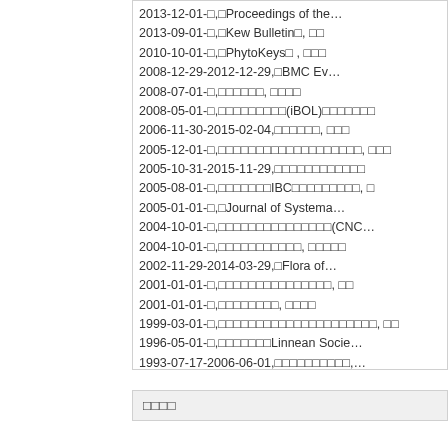2013-12-01-□,□Proceedings of the…
2013-09-01-□,□Kew Bulletin□, □□
2010-10-01-□,□PhytoKeys□ , □□□
2008-12-29-2012-12-29,□BMC Ev…
2008-07-01-□,□□□□□□, □□□□
2008-05-01-□,□□□□□□□□(iBOL)□□□□□□□
2006-11-30-2015-02-04,□□□□□□, □□□
2005-12-01-□,□□□□□□□□□□□□□□□, □□□
2005-10-31-2015-11-29,□□□□□□□□□□□□
2005-08-01-□,□□□□□□□IBC□□□□□□□□□, □
2005-01-01-□,□Journal of Systema…
2004-10-01-□,□□□□□□□□□□□□□□□(CNC…
2004-10-01-□,□□□□□□□□□□□, □□□□□
2002-11-29-2014-03-29,□Flora of…
2001-01-01-□,□□□□□□□□□□□□□□□, □□
2001-01-01-□,□□□□□□□□, □□□□
1999-03-01-□,□□□□□□□□□□□□□□□□□□□□□, □□
1996-05-01-□,□□□□□□□Linnean Socie…
1993-07-17-2006-06-01,□□□□□□□□□□,…
□□□□